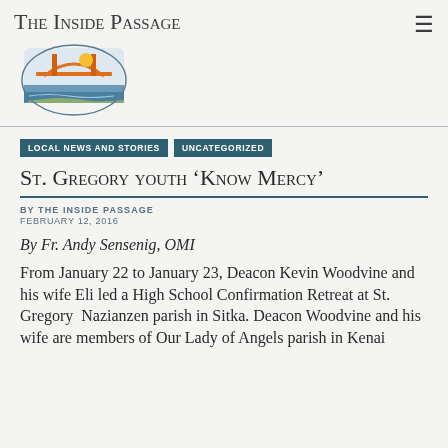The Inside Passage
[Figure (logo): The Inside Passage logo — stylized bridge and water scene in orange, yellow, blue colors]
LOCAL NEWS AND STORIES
UNCATEGORIZED
St. Gregory youth 'Know Mercy'
BY THE INSIDE PASSAGE
FEBRUARY 12, 2016
By Fr. Andy Sensenig, OMI
From January 22 to January 23, Deacon Kevin Woodvine and his wife Eli led a High School Confirmation Retreat at St. Gregory Nazianzen parish in Sitka. Deacon Woodvine and his wife are members of Our Lady of Angels parish in Kenai